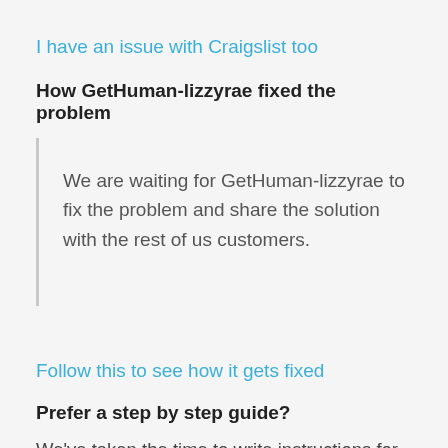I have an issue with Craigslist too
How GetHuman-lizzyrae fixed the problem
We are waiting for GetHuman-lizzyrae to fix the problem and share the solution with the rest of us customers.
Follow this to see how it gets fixed
Prefer a step by step guide?
We've taken the time to write instructions for how to solve some of the most common Craigslist customer